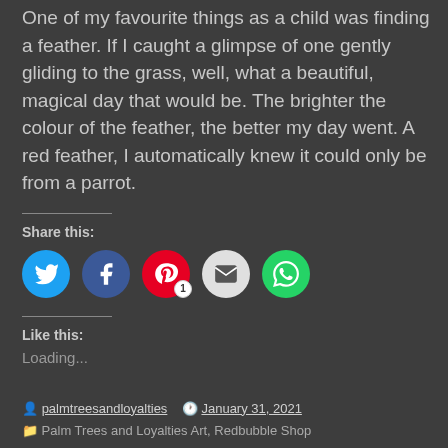One of my favourite things as a child was finding a feather. If I caught a glimpse of one gently gliding to the grass, well, what a beautiful, magical day that would be. The brighter the colour of the feather, the better my day went. A red feather, I automatically knew it could only be from a parrot.
Share this:
[Figure (infographic): Social share buttons: Twitter (blue), Facebook (dark blue), Pinterest (red, badge showing 1), Email (light gray), WhatsApp (green)]
Like this:
Loading...
By palmtreesandloyalties   January 31, 2021   Palm Trees and Loyalties Art, Redbubble Shop